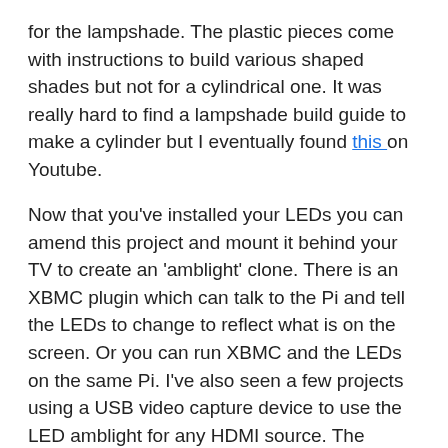for the lampshade. The plastic pieces come with instructions to build various shaped shades but not for a cylindrical one. It was really hard to find a lampshade build guide to make a cylinder but I eventually found this on Youtube.
Now that you've installed your LEDs you can amend this project and mount it behind your TV to create an 'amblight' clone. There is an XBMC plugin which can talk to the Pi and tell the LEDs to change to reflect what is on the screen. Or you can run XBMC and the LEDs on the same Pi. I've also seen a few projects using a USB video capture device to use the LED amblight for any HDMI source. The Hyperion config file can be amended to specify how many LEDs are around your TV and their position. I think creating an ambilight will be my next project.